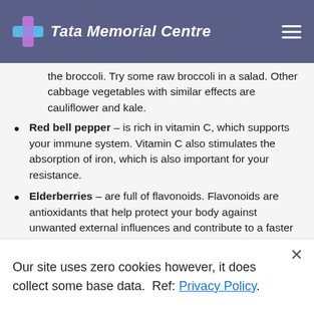Tata Memorial Centre
the broccoli. Try some raw broccoli in a salad. Other cabbage vegetables with similar effects are cauliflower and kale.
Red bell pepper – is rich in vitamin C, which supports your immune system. Vitamin C also stimulates the absorption of iron, which is also important for your resistance.
Elderberries – are full of flavonoids. Flavonoids are antioxidants that help protect your body against unwanted external influences and contribute to a faster recovery. In two clinical studies on flu patients, it was shown that the patients who drank 4 tablespoons of elderberry syrup daily
Our site uses zero cookies however, it does collect some base data. Ref: Privacy Policy.